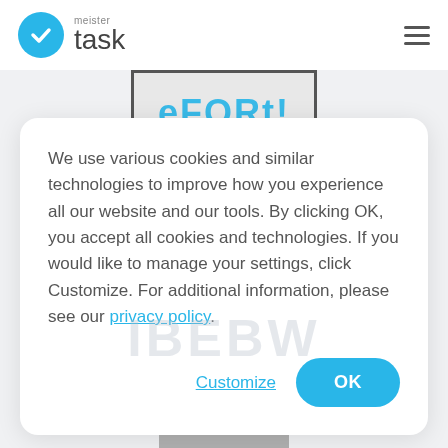[Figure (logo): MeisterTask logo: blue circle with white checkmark, followed by 'meister' in small gray text above 'task' in large gray text]
[Figure (screenshot): Hamburger menu icon (three horizontal lines) in top right corner]
[Figure (screenshot): Partially visible element at top showing text in blue, clipped by the viewport]
We use various cookies and similar technologies to improve how you experience all our website and our tools. By clicking OK, you accept all cookies and technologies. If you would like to manage your settings, click Customize. For additional information, please see our privacy policy.
[Figure (screenshot): Customize link button (blue underlined text) and OK button (blue rounded rectangle with white text)]
[Figure (screenshot): Partially visible element at the bottom of the page]